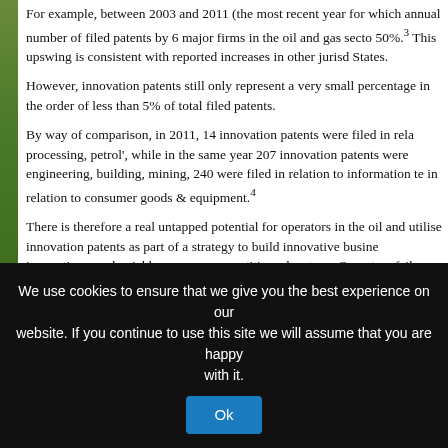For example, between 2003 and 2011 (the most recent year for which annual number of filed patents by 6 major firms in the oil and gas sector 50%.³ This upswing is consistent with reported increases in other jurisdictions States.
However, innovation patents still only represent a very small percentage in the order of less than 5% of total filed patents.
By way of comparison, in 2011, 14 innovation patents were filed in relation to processing, petrol', while in the same year 207 innovation patents were filed in engineering, building, mining, 240 were filed in relation to information technology in relation to consumer goods & equipment.⁴
There is therefore a real untapped potential for operators in the oil and gas sector to utilise innovation patents as part of a strategy to build innovative business innovations, and quickly secure a competitive advantage. Operators failing to act risk falling behind by competitors with well-defined and well-executed innovation strategies.
Endnotes
PwC, Gateway to growth: innovation in the oil and gas industry, 2013.
SNF (Australia) Pty Ltd v Ciba Speciality Chemicals Water Treatments
Baker Hughes, BP, Chevron, ExxonMobil, JX Nippon Oil & Energy and
The Advisory Council on Intellectual Property's May 2014 Final Report on the Innovation Patent System.
We use cookies to ensure that we give you the best experience on our website. If you continue to use this site we will assume that you are happy with it.